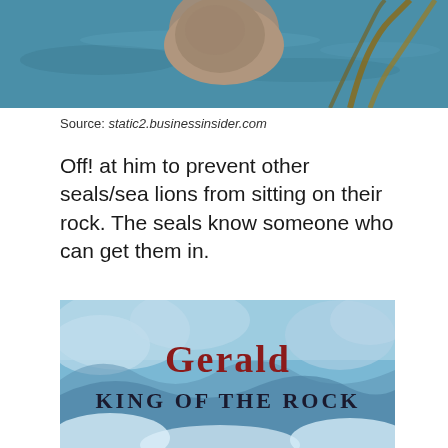[Figure (photo): Top portion of an image showing a seal/sea lion on a rock surrounded by water with kelp visible]
Source: static2.businessinsider.com
Off! at him to prevent other seals/sea lions from sitting on their rock. The seals know someone who can get them in.
[Figure (illustration): Illustrated book cover or title card showing 'Gerald King of the Rock' with a sky and clouds background. 'Gerald' is in red stylized font and 'King of the Rock' is in dark serif font.]